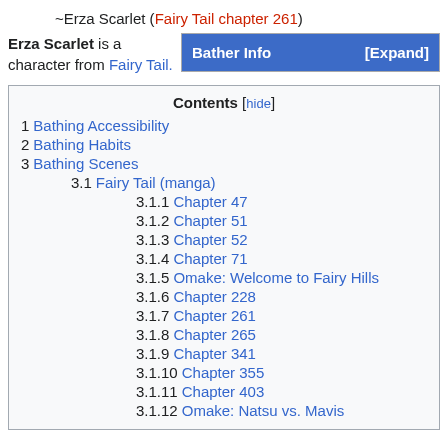~Erza Scarlet (Fairy Tail chapter 261)
Erza Scarlet is a character from Fairy Tail.
Bather Info [Expand]
Contents [hide]
1 Bathing Accessibility
2 Bathing Habits
3 Bathing Scenes
3.1 Fairy Tail (manga)
3.1.1 Chapter 47
3.1.2 Chapter 51
3.1.3 Chapter 52
3.1.4 Chapter 71
3.1.5 Omake: Welcome to Fairy Hills
3.1.6 Chapter 228
3.1.7 Chapter 261
3.1.8 Chapter 265
3.1.9 Chapter 341
3.1.10 Chapter 355
3.1.11 Chapter 403
3.1.12 Omake: Natsu vs. Mavis